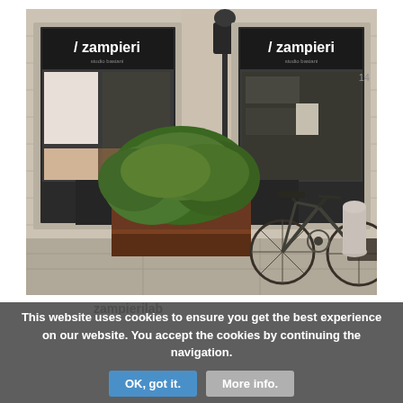[Figure (photo): Street-level photograph of a Zampieri store front on a stone-clad building. Two dark-framed shop windows display the 'zampieri' brand name in white text on dark signage. A bicycle is parked in front of a large rectangular planter with lush green plants on the sidewalk. A parking meter pole stands between the windows. The building facade has classical stone detailing.]
zampierilab
This website uses cookies to ensure you get the best experience on our website. You accept the cookies by continuing the navigation. OK, got it. More info.